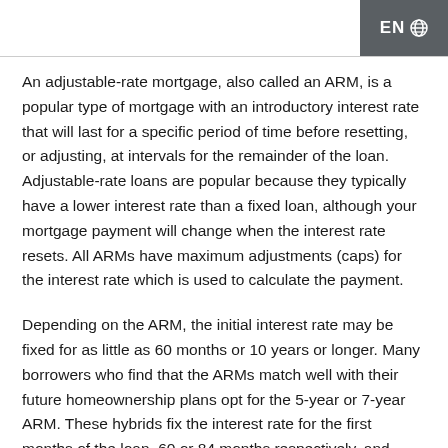EN
An adjustable-rate mortgage, also called an ARM, is a popular type of mortgage with an introductory interest rate that will last for a specific period of time before resetting, or adjusting, at intervals for the remainder of the loan. Adjustable-rate loans are popular because they typically have a lower interest rate than a fixed loan, although your mortgage payment will change when the interest rate resets. All ARMs have maximum adjustments (caps) for the interest rate which is used to calculate the payment.
Depending on the ARM, the initial interest rate may be fixed for as little as 60 months or 10 years or longer. Many borrowers who find that the ARMs match well with their future homeownership plans opt for the 5-year or 7-year ARM. These hybrids fix the interest rate for the first months of the loan, 60 or 84 months respectively, and thereafter the interest is subject